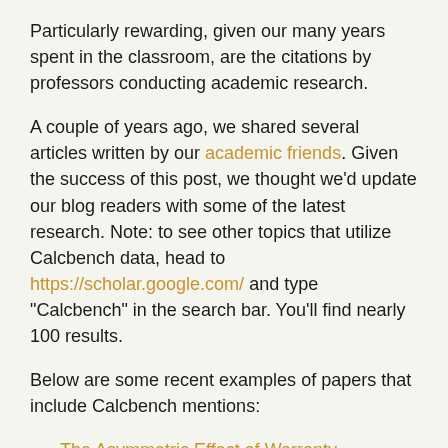Particularly rewarding, given our many years spent in the classroom, are the citations by professors conducting academic research.
A couple of years ago, we shared several articles written by our academic friends. Given the success of this post, we thought we'd update our blog readers with some of the latest research. Note: to see other topics that utilize Calcbench data, head to https://scholar.google.com/ and type “Calcbench” in the search bar. You’ll find nearly 100 results.
Below are some recent examples of papers that include Calcbench mentions:
The Asymmetric Effect of Warranty Payments on Firm Value: The Moderating Role of Advertising R&D, and Industry Concentration (D. Kurt, K. Pauwels, A. Kurt, S. Srinivasan - International Journal of Research in Marketing, 2021)
Financial Analysts’ Career Concerns and The Cost